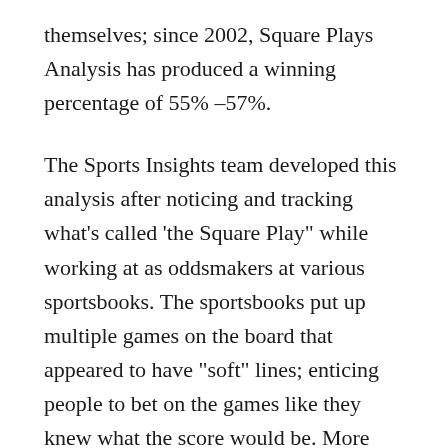themselves; since 2002, Square Plays Analysis has produced a winning percentage of 55% –57%.
The Sports Insights team developed this analysis after noticing and tracking what's called 'the Square Play" while working at as oddsmakers at various sportsbooks. The sportsbooks put up multiple games on the board that appeared to have "soft" lines; enticing people to bet on the games like they knew what the score would be. More often than not, the public was wrong. In other words, the sportsbooks played